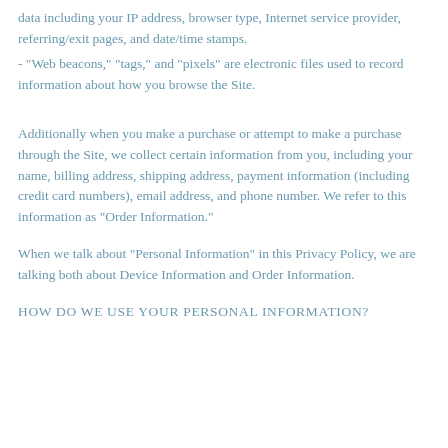data including your IP address, browser type, Internet service provider, referring/exit pages, and date/time stamps.
- "Web beacons," "tags," and "pixels" are electronic files used to record information about how you browse the Site.
Additionally when you make a purchase or attempt to make a purchase through the Site, we collect certain information from you, including your name, billing address, shipping address, payment information (including credit card numbers), email address, and phone number. We refer to this information as "Order Information."
When we talk about "Personal Information" in this Privacy Policy, we are talking both about Device Information and Order Information.
HOW DO WE USE YOUR PERSONAL INFORMATION?